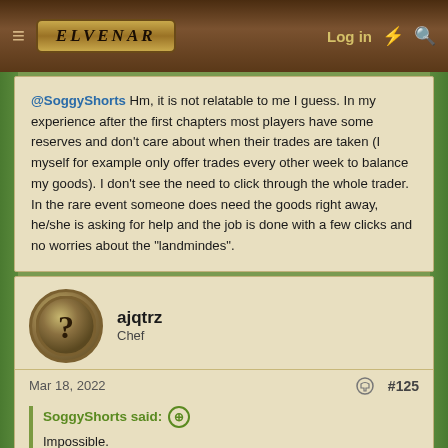Elvenar — Log in
@SoggyShorts Hm, it is not relatable to me I guess. In my experience after the first chapters most players have some reserves and don't care about when their trades are taken (I myself for example only offer trades every other week to balance my goods). I don't see the need to click through the whole trader. In the rare event someone does need the goods right away, he/she is asking for help and the job is done with a few clicks and no worries about the "landmindes".
ajqtrz
Chef
Mar 18, 2022
#125
SoggyShorts said:
Impossible.
Either your trader was empty which meant everyone had what